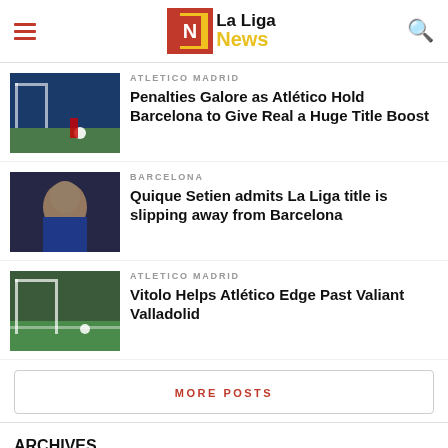La Liga News
ATLETICO MADRID
Penalties Galore as Atlético Hold Barcelona to Give Real a Huge Title Boost
[Figure (photo): Soccer match scene with player taking penalty]
BARCELONA
Quique Setien admits La Liga title is slipping away from Barcelona
[Figure (photo): Coach Quique Setien looking pensive in a dugout]
ATLETICO MADRID
Vitolo Helps Atlético Edge Past Valiant Valladolid
[Figure (photo): Soccer match scene near goal]
MORE POSTS
ARCHIVES